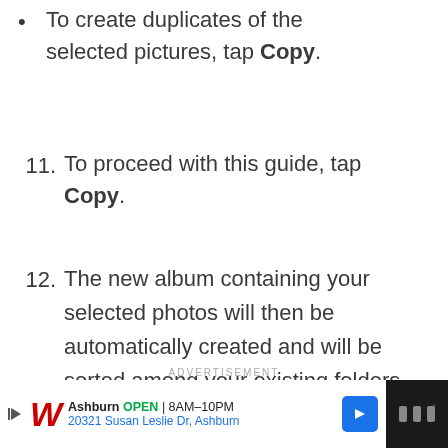To create duplicates of the selected pictures, tap Copy.
11. To proceed with this guide, tap Copy.
12. The new album containing your selected photos will then be automatically created and will be sorted among your existing folders alphabetically.
[Figure (screenshot): Advertisement banner for Walgreens: Ashburn OPEN 8AM-10PM, 20321 Susan Leslie Dr, Ashburn]